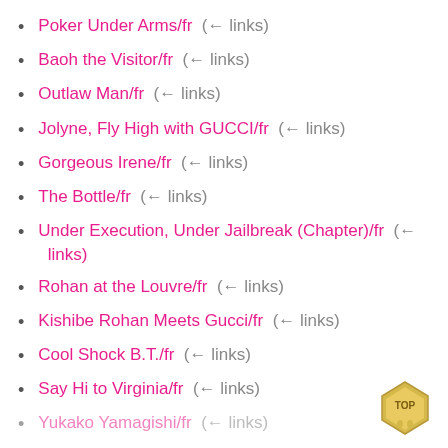Poker Under Arms/fr  (← links)
Baoh the Visitor/fr  (← links)
Outlaw Man/fr  (← links)
Jolyne, Fly High with GUCCI/fr  (← links)
Gorgeous Irene/fr  (← links)
The Bottle/fr  (← links)
Under Execution, Under Jailbreak (Chapter)/fr  (← links)
Rohan at the Louvre/fr  (← links)
Kishibe Rohan Meets Gucci/fr  (← links)
Cool Shock B.T./fr  (← links)
Say Hi to Virginia/fr  (← links)
Yukako Yamagishi/fr  (← links)